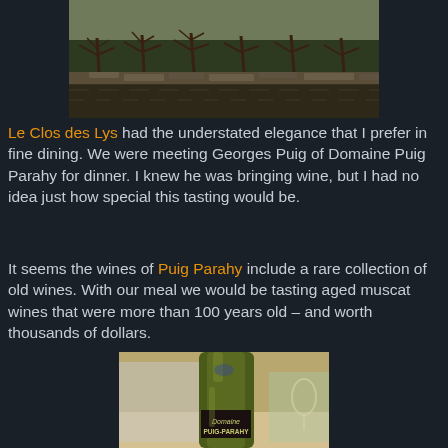[Figure (photo): Vineyard with bare grapevines and stone walls in winter or early spring]
Le Clos des Lys had the understated elegance that I prefer in fine dining.  We were meeting Georges Puig of Domaine Puig Parahy for dinner. I knew he was bringing wine, but I had no idea just how special this tasting would be.
It seems the wines of Puig Parahy include a rare collection of old wines. With our meal we would be tasting aged muscat wines that were more than 100 years old – and worth thousands of dollars.
[Figure (photo): Close-up of a dark glass wine bottle labeled Domaine PUIG-PARAHY on a dining table with glasses in the background]